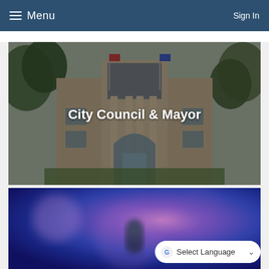Menu   Sign In
[Figure (photo): City government center building exterior with brick facade, columns, arched entrance, and trees. Text overlay reads 'City Council & Mayor']
City Council & Mayor
[Figure (photo): Blurred close-up of a microphone against a purple and blue bokeh background]
Select Language